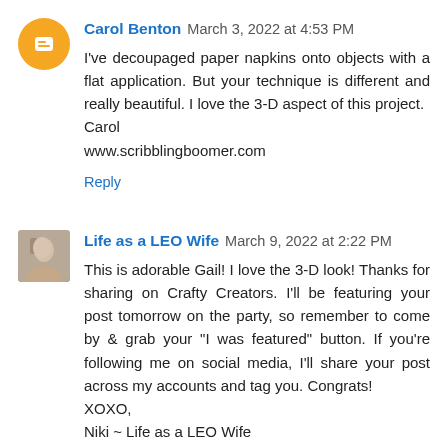Carol Benton March 3, 2022 at 4:53 PM
I've decoupaged paper napkins onto objects with a flat application. But your technique is different and really beautiful. I love the 3-D aspect of this project.
Carol
www.scribblingboomer.com
Reply
Life as a LEO Wife March 9, 2022 at 2:22 PM
This is adorable Gail! I love the 3-D look! Thanks for sharing on Crafty Creators. I'll be featuring your post tomorrow on the party, so remember to come by & grab your "I was featured" button. If you're following me on social media, I'll share your post across my accounts and tag you. Congrats!
XOXO,
Niki ~ Life as a LEO Wife
Reply